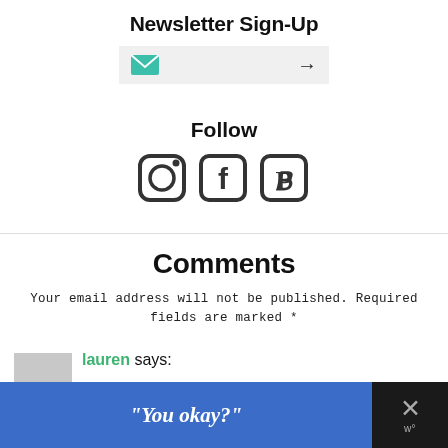Newsletter Sign-Up
[Figure (other): Email newsletter sign-up input bar with teal envelope icon on the left and a right arrow on the right, on a light grey background]
Follow
[Figure (other): Three social media icons: Instagram camera icon, Facebook 'f' icon, and Pinterest 'p' icon, all dark grey]
Comments
Your email address will not be published. Required fields are marked *
lauren says:
[Figure (other): Bottom advertisement banner with blue background showing text '"You okay?"' and a dark close button with X and logo on the right]